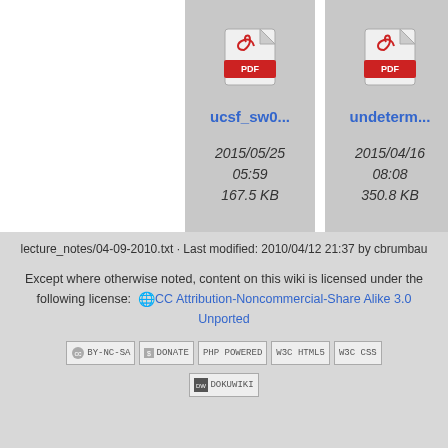[Figure (other): PDF file icon for ucsf_sw0... with metadata 2015/05/25 05:59 167.5 KB]
[Figure (other): PDF file icon for undeterm... with metadata 2015/04/16 08:08 350.8 KB]
lecture_notes/04-09-2010.txt · Last modified: 2010/04/12 21:37 by cbrumbau
Except where otherwise noted, content on this wiki is licensed under the following license: CC Attribution-Noncommercial-Share Alike 3.0 Unported
[Figure (other): CC BY-NC-SA badge, DONATE badge, PHP POWERED badge, WSC HTML5 badge, WSC CSS badge, DOKUWIKI badge]